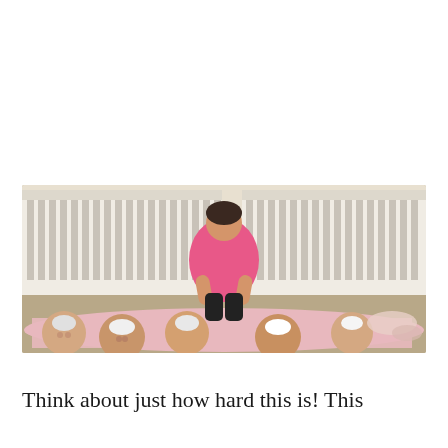[Figure (photo): A woman in a pink t-shirt and black pants kneeling on the floor in front of white baby cribs, attending to multiple babies (quadruplets or more) lying on a pink patterned blanket on the floor. The babies are in a row with their heads visible in the foreground.]
Think about just how hard this is! This